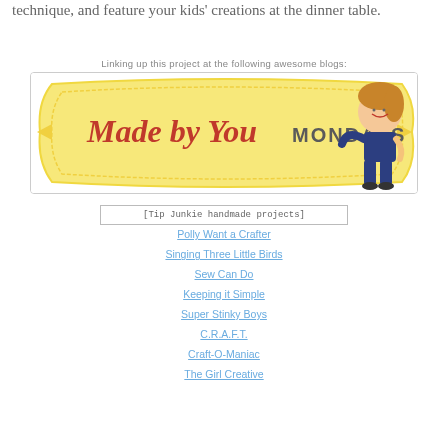technique, and feature your kids' creations at the dinner table.
Linking up this project at the following awesome blogs:
[Figure (illustration): Made by You Mondays blog button — decorative yellow banner with cursive red and serif text reading 'Made by You MONDAYS', with an illustrated cartoon girl figure on the right side]
[Figure (illustration): Tip Junkie handmade projects button — bordered box with alt text 'Tip Junkie handmade projects']
Polly Want a Crafter
Singing Three Little Birds
Sew Can Do
Keeping it Simple
Super Stinky Boys
C.R.A.F.T.
Craft-O-Maniac
The Girl Creative